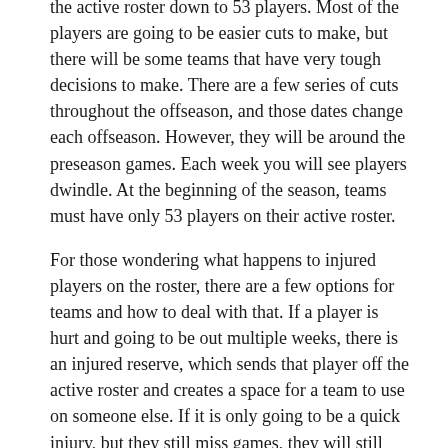the active roster down to 53 players. Most of the players are going to be easier cuts to make, but there will be some teams that have very tough decisions to make. There are a few series of cuts throughout the offseason, and those dates change each offseason. However, they will be around the preseason games. Each week you will see players dwindle. At the beginning of the season, teams must have only 53 players on their active roster.
For those wondering what happens to injured players on the roster, there are a few options for teams and how to deal with that. If a player is hurt and going to be out multiple weeks, there is an injured reserve, which sends that player off the active roster and creates a space for a team to use on someone else. If it is only going to be a quick injury, but they still miss games, they will still have a roster spot. Those in-between injuries always give the team trouble because the injured reserve used to have a larger minimum to miss, but it is not three games. Any player placed on injured reserve has to miss a minimum of three games.